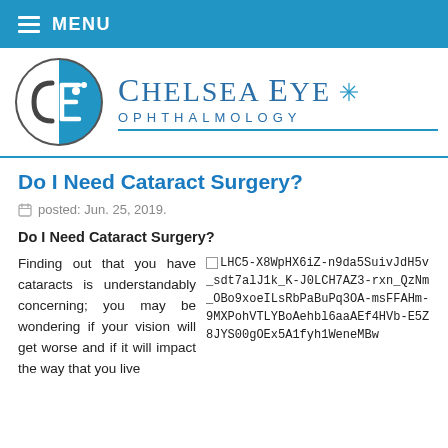MENU
[Figure (logo): Chelsea Eye Ophthalmology logo with circular CE emblem in gray and blue, and stylized text 'Chelsea Eye Ophthalmology' with a star accent]
Do I Need Cataract Surgery?
posted: Jun. 25, 2019.
Do I Need Cataract Surgery?
Finding out that you have cataracts is understandably concerning; you may be wondering if your vision will get worse and if it will impact the way that you live
LHC5-X8WpHX6iZ-n9da5SuivJdH5v_sdt7alJ1k_K-J0LCH7AZ3-rxn_QzNm_OBo9xoeILsRbPaBuPq3OA-msFFAHm-9MXPohVTLYBoAehbl6aaAEf4HVb-E5Z8JYS00gOEx5A1fyh1WeneMBw